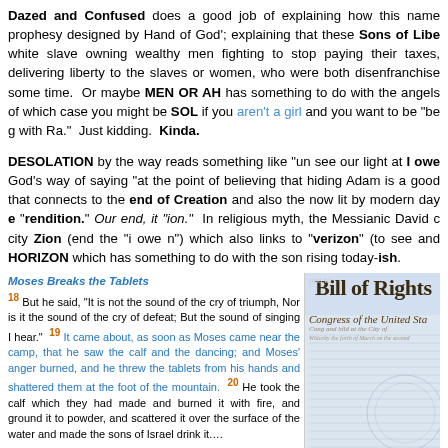Dazed and Confused does a good job of explaining how this name prophesy designed by Hand of God'; explaining that these Sons of Liberty were white slave owning wealthy men fighting to stop paying their taxes, not delivering liberty to the slaves or women, who were both disenfranchised for some time. Or maybe MEN OR AH has something to do with the angels of which case you might be SOL if you aren't a girl and you want to be "be g with Ra." Just kidding. Kinda.
DESOLATION by the way reads something like "un see our light at I owe God's way of saying "at the point of believing that hiding Adam is a good that connects to the end of Creation and also the now lit by modern day e "rendition." Our end, it "ion." In religious myth, the Messianic David c city Zion (end the "i owe n") which also links to "verizon" (to see and HORIZON which has something to do with the son rising today-ish.
[Figure (illustration): Bible passage excerpt titled 'Moses Breaks the Tablets' with text from Numbers 18-20, New American Standard Bible, in a box with blue highlighted verse text]
[Figure (photo): Image of Bill of Rights document showing 'Congress of the United States' header text, with pho.to watermark]
The story of MEDUSA lights another psuedo-religious idea, that the words both "brimstone" and it's Adamic interpretation "South to Northeast" have